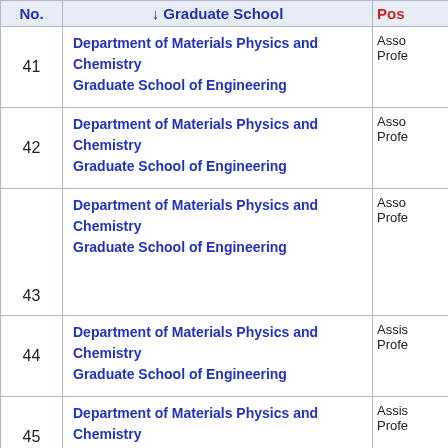| No. | ↓ Graduate School | Pos... |
| --- | --- | --- |
| 41 | Department of Materials Physics and Chemistry
Graduate School of Engineering | Asso... Profe... |
| 42 | Department of Materials Physics and Chemistry
Graduate School of Engineering | Asso... Profe... |
| 43 | Department of Materials Physics and Chemistry
Graduate School of Engineering | Asso... Profe... |
| 44 | Department of Materials Physics and Chemistry
Graduate School of Engineering | Assis... Profe... |
| 45 | Department of Materials Physics and Chemistry
Graduate School of Engineering | Assis... Profe... |
| 46 | Department of Materials Physics and Chemistry
Graduate School of Engineering | Assis... Profe... |
|  | Department of Materials Physics and Chemistry | Asso... |